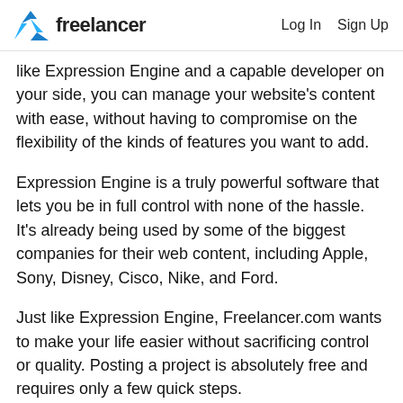freelancer  Log In  Sign Up
like Expression Engine and a capable developer on your side, you can manage your website's content with ease, without having to compromise on the flexibility of the kinds of features you want to add.
Expression Engine is a truly powerful software that lets you be in full control with none of the hassle. It's already being used by some of the biggest companies for their web content, including Apple, Sony, Disney, Cisco, Nike, and Ford.
Just like Expression Engine, Freelancer.com wants to make your life easier without sacrificing control or quality. Posting a project is absolutely free and requires only a few quick steps.
Specify the skills that you require from your web developer